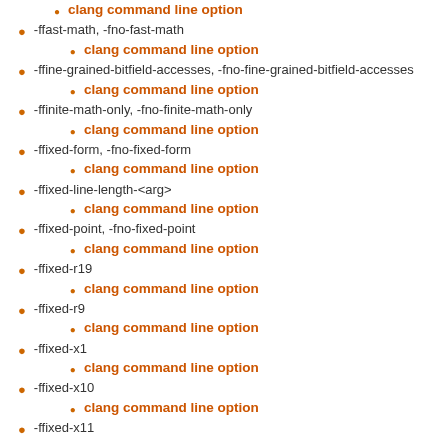clang command line option
-ffast-math, -fno-fast-math
clang command line option
-ffine-grained-bitfield-accesses, -fno-fine-grained-bitfield-accesses
clang command line option
-ffinite-math-only, -fno-finite-math-only
clang command line option
-ffixed-form, -fno-fixed-form
clang command line option
-ffixed-line-length-<arg>
clang command line option
-ffixed-point, -fno-fixed-point
clang command line option
-ffixed-r19
clang command line option
-ffixed-r9
clang command line option
-ffixed-x1
clang command line option
-ffixed-x10
clang command line option
-ffixed-x11